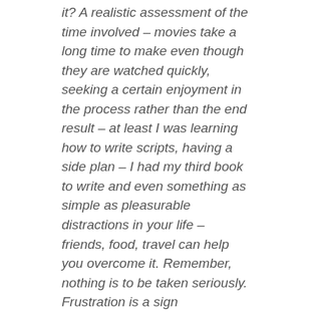it? A realistic assessment of the time involved – movies take a long time to make even though they are watched quickly, seeking a certain enjoyment in the process rather than the end result – at least I was learning how to write scripts, having a side plan – I had my third book to write and even something as simple as pleasurable distractions in your life – friends, food, travel can help you overcome it. Remember, nothing is to be taken seriously. Frustration is a sign somewhere, you took it